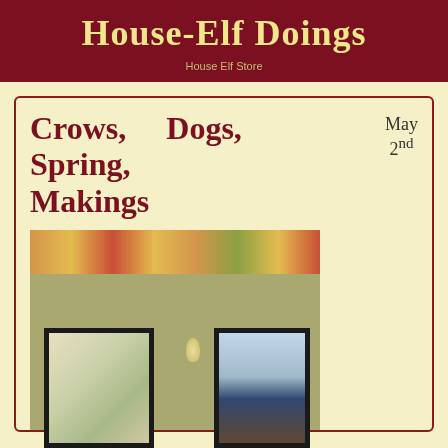House-Elf Doings
House Elf Store
Crows, Dogs, Spring, Makings
May 2nd
[Figure (photo): Two framed bird prints hanging on a yellow-green wall with a floral wallpaper border at the top. Left frame contains a print of a bird among foliage; right frame contains a print of a crow. A small wall light fixture hangs between them.]